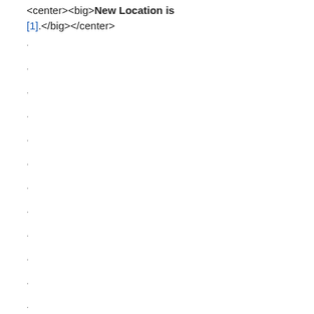&lt;center&gt;&lt;big&gt;New Location is [1].&lt;/big&gt;&lt;/center&gt;